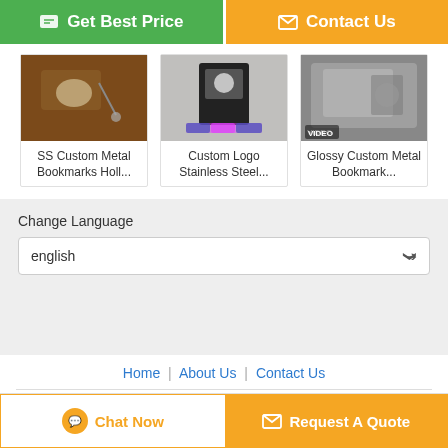[Figure (screenshot): Green Get Best Price button and orange Contact Us button at the top]
[Figure (photo): SS Custom Metal Bookmarks product photo]
SS Custom Metal Bookmarks Holl...
[Figure (photo): Custom Logo Stainless Steel product photo]
Custom Logo Stainless Steel...
[Figure (photo): Glossy Custom Metal Bookmark product photo with VIDEO badge]
Glossy Custom Metal Bookmark...
Change Language
english
Home | About Us | Contact Us
Desktop View
Copyright © 2018 - 2022 kingkongcards.com.
All rights reserved.
[Figure (screenshot): Chat Now button and Request A Quote button at the bottom]